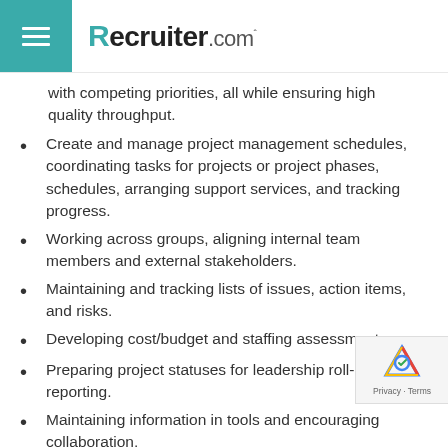Recruiter.com
with competing priorities, all while ensuring high quality throughput.
Create and manage project management schedules, coordinating tasks for projects or project phases, schedules, arranging support services, and tracking progress.
Working across groups, aligning internal team members and external stakeholders.
Maintaining and tracking lists of issues, action items, and risks.
Developing cost/budget and staffing assessments.
Preparing project statuses for leadership roll-ups and reporting.
Maintaining information in tools and encouraging collaboration.
Basic Qualifications: